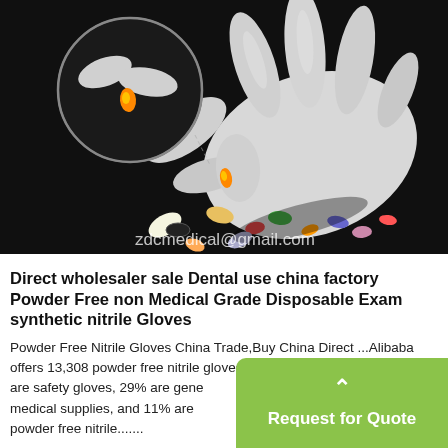[Figure (photo): White nitrile gloved hands picking up colorful small objects (pills/toys) against a black background, with a circular inset zoom showing a close-up of gloved fingers. Watermark text 'zdcmedical@gmail.com' in bottom right of image.]
Direct wholesaler sale Dental use china factory Powder Free non Medical Grade Disposable Exam synthetic nitrile Gloves
Powder Free Nitrile Gloves China Trade,Buy China Direct ...Alibaba offers 13,308 powder free nitrile gloves products. About 50% of these are safety gloves, 29% are general medical supplies, and 11% are powder free nitrile.......